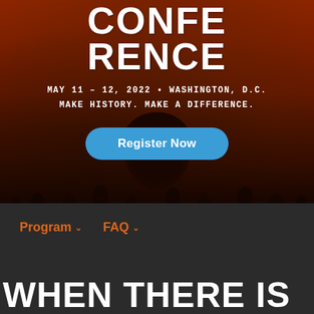[Figure (photo): Conference promotional banner with crowd background in dark orange/red tones. Large text reading CONFERENCE at top. Shows historical crowd photo overlaid with rust/orange color.]
CONFE
RENCE
MAY 11 – 12, 2022 • WASHINGTON, D.C.
MAKE HISTORY. MAKE A DIFFERENCE.
Register Now
Program
FAQ
WHEN THERE IS